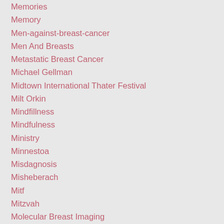Memories
Memory
Men-against-breast-cancer
Men And Breasts
Metastatic Breast Cancer
Michael Gellman
Midtown International Thater Festival
Milt Orkin
Mindfillness
Mindfulness
Ministry
Minnestoa
Misdagnosis
Misheberach
Mitf
Mitzvah
Molecular Breast Imaging
Mothers Day
Muhammad Abu Khdeir
Muhammad Ali